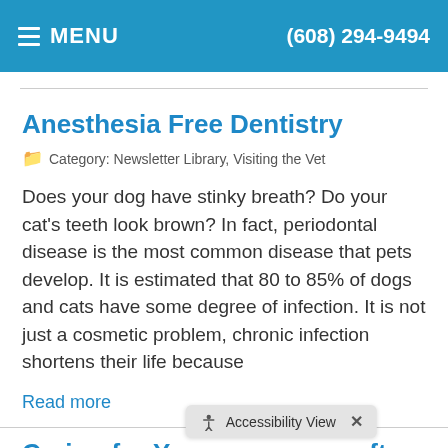MENU  (608) 294-9494
Anesthesia Free Dentistry
Category: Newsletter Library, Visiting the Vet
Does your dog have stinky breath? Do your cat's teeth look brown? In fact, periodontal disease is the most common disease that pets develop. It is estimated that 80 to 85% of dogs and cats have some degree of infection. It is not just a cosmetic problem, chronic infection shortens their life because
Read more
Caring for Your ... after